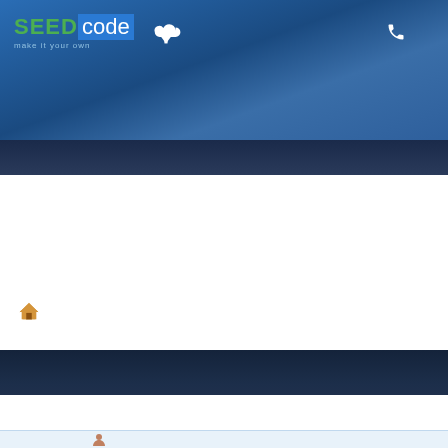[Figure (screenshot): SeedCode website header banner with blue gradient background, logo top-left, cloud download icon and phone icon in header]
[Figure (screenshot): Dark navy blue section below main header]
[Figure (screenshot): Home icon (orange/brown house) in white content area]
[Figure (screenshot): Search bar with text field showing 'Search...' and blue search button with magnifier icon, on dark blue background]
[Figure (screenshot): POST REPLY button and topic search field with Search button, and partial user avatar row at bottom]